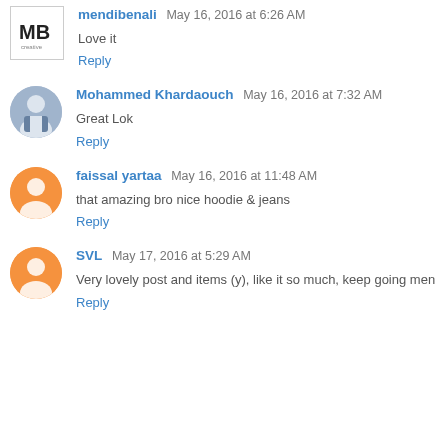mendibenali May 16, 2016 at 6:26 AM
Love it
Reply
Mohammed Khardaouch May 16, 2016 at 7:32 AM
Great Lok
Reply
faissal yartaa May 16, 2016 at 11:48 AM
that amazing bro nice hoodie & jeans
Reply
SVL May 17, 2016 at 5:29 AM
Very lovely post and items (y), like it so much, keep going men
Reply